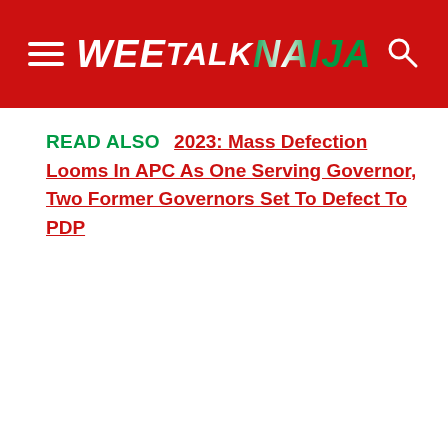WEETALKNAIJA
READ ALSO  2023: Mass Defection Looms In APC As One Serving Governor, Two Former Governors Set To Defect To PDP